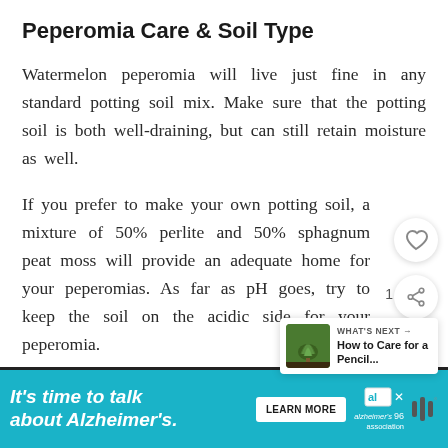Peperomia Care & Soil Type
Watermelon peperomia will live just fine in any standard potting soil mix. Make sure that the potting soil is both well-draining, but can still retain moisture as well.
If you prefer to make your own potting soil, a mixture of 50% perlite and 50% sphagnum peat moss will provide an adequate home for your peperomias. As far as pH goes, try to keep the soil on the acidic side for your peperomia.
[Figure (screenshot): UI overlay: heart/favorite button (circle with heart icon), share button (circle with share icon), count badge showing 1, and a 'What's Next' card showing a thumbnail of a plant and text 'WHAT'S NEXT → How to Care for a Pencil...']
[Figure (infographic): Advertisement bar with teal/cyan background. Text: 'It's time to talk about Alzheimer's.' with a 'LEARN MORE' button and Alzheimer's Association logo with close button.]